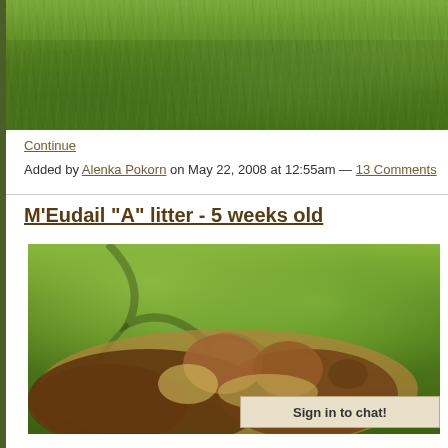[Figure (photo): Top portion of a grass lawn photo, cropped at the top of the page]
Continue
Added by Alenka Pokorn on May 22, 2008 at 12:55am — 13 Comments
M'Eudail "A" litter - 5 weeks old
[Figure (photo): Photo of adult dog with puppies lying on a yellow blanket on a green grass lawn, with tree shadow patterns visible]
Sign in to chat!